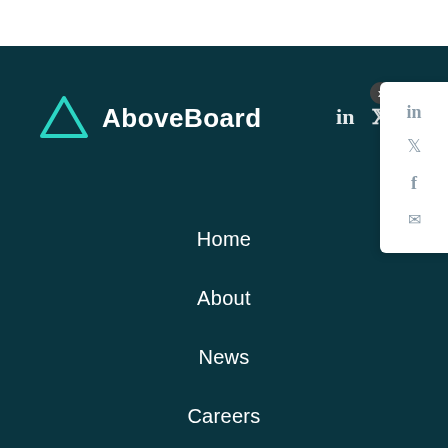[Figure (logo): AboveBoard logo with teal triangle icon and white text 'AboveBoard']
Home
About
News
Careers
Support
[Figure (screenshot): Share panel overlay on right side with close X button, LinkedIn, Twitter, Facebook, and email icons]